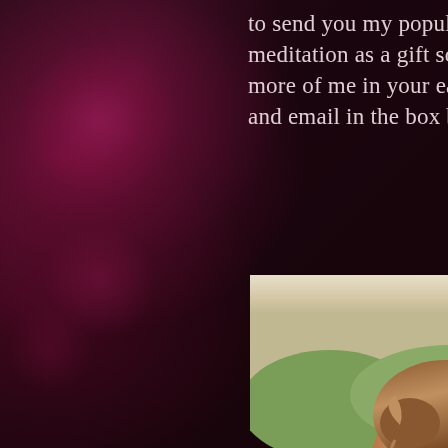to send you my popular gr... meditation as a gift so if yo... more of me in your ears, pu... and email in the box below.
[Figure (photo): A woman with brown hair in an updo laughing joyfully outdoors, with a blurred green landscape and water in the background. She is wearing teal/dark clothing and purple earrings.]